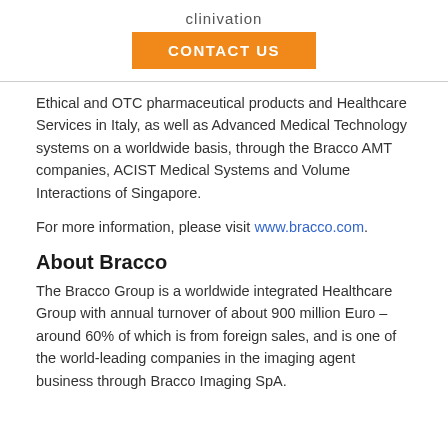clinivation
CONTACT US
Ethical and OTC pharmaceutical products and Healthcare Services in Italy, as well as Advanced Medical Technology systems on a worldwide basis, through the Bracco AMT companies, ACIST Medical Systems and Volume Interactions of Singapore.
For more information, please visit www.bracco.com.
About Bracco
The Bracco Group is a worldwide integrated Healthcare Group with annual turnover of about 900 million Euro – around 60% of which is from foreign sales, and is one of the world-leading companies in the imaging agent business through Bracco Imaging SpA.